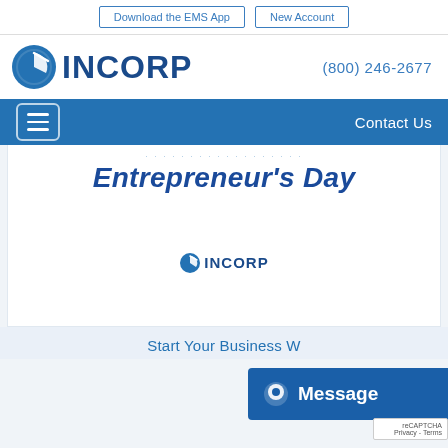Download the EMS App | New Account
[Figure (logo): INCORP logo with clock icon and phone number (800) 246-2677]
Contact Us (hamburger menu)
Entrepreneur's Day
[Figure (logo): INCORP small logo inside banner]
Start Your Business W...
[Figure (other): Message chat button overlay]